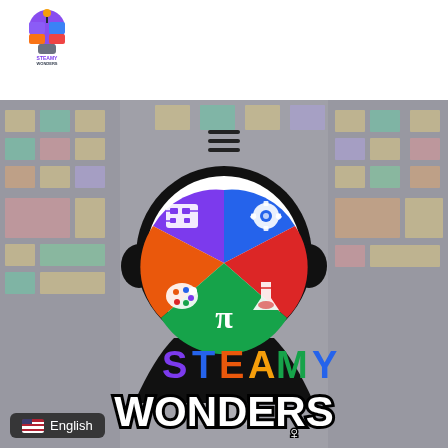[Figure (logo): Steamy Wonders small logo in top-left corner — colorful alien/robot character with STEAMY WONDERS text]
[Figure (photo): Background image of a person standing in front of a wall covered with colorful sticky notes, dimmed/overlaid]
[Figure (logo): Main Steamy Wonders logo: a head silhouette containing a pie chart divided into 5 STEAM sections (purple with circuit board, blue with gear, orange with palette, red with flask, green with pi symbol), with colorful STEAMY WONDERS text below]
English